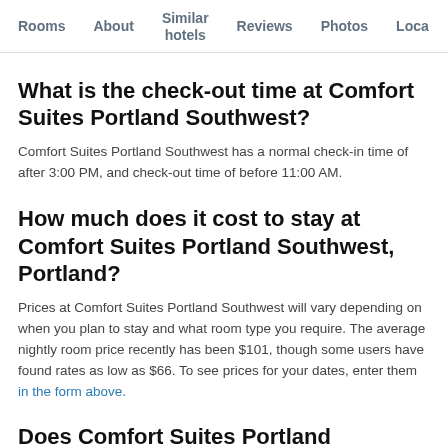Rooms   About   Similar hotels   Reviews   Photos   Loca...
What is the check-out time at Comfort Suites Portland Southwest?
Comfort Suites Portland Southwest has a normal check-in time of after 3:00 PM, and check-out time of before 11:00 AM.
How much does it cost to stay at Comfort Suites Portland Southwest, Portland?
Prices at Comfort Suites Portland Southwest will vary depending on when you plan to stay and what room type you require. The average nightly room price recently has been $101, though some users have found rates as low as $66. To see prices for your dates, enter them in the form above.
Does Comfort Suites Portland Southwest